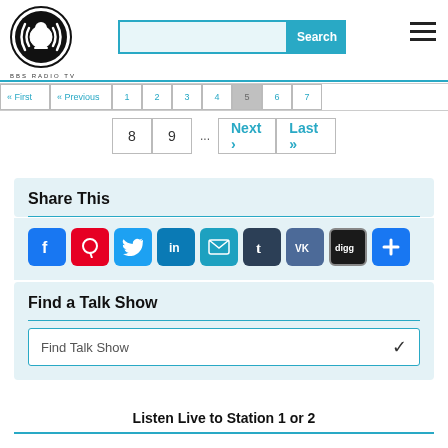[Figure (logo): BBS Radio TV circular logo with microphone icon and text BBS RADIO TV below]
Search
« First  « Previous  1  2  3  4  5  6  7
8  9  ...  Next ›  Last »
Share This
[Figure (infographic): Social share icons: Facebook, Pinterest, Twitter, LinkedIn, Email, Tumblr, VK, Digg, More]
Find a Talk Show
Find Talk Show
Listen Live to Station 1 or 2